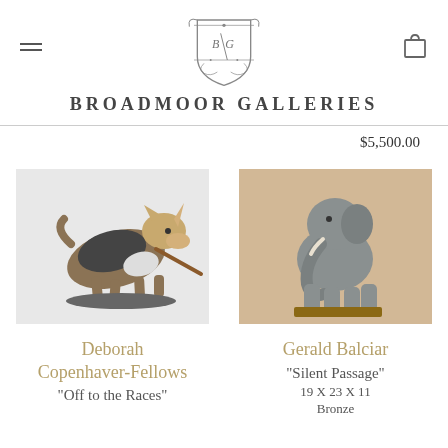Broadmoor Galleries
$5,500.00
[Figure (photo): Ceramic sculpture of a Corgi dog running with a stick, on a base]
Deborah Copenhaver-Fellows
"Off to the Races"
[Figure (photo): Bronze sculpture of an elephant with raised trunk, on a base]
Gerald Balciar
"Silent Passage"
19 X 23 X 11
Bronze